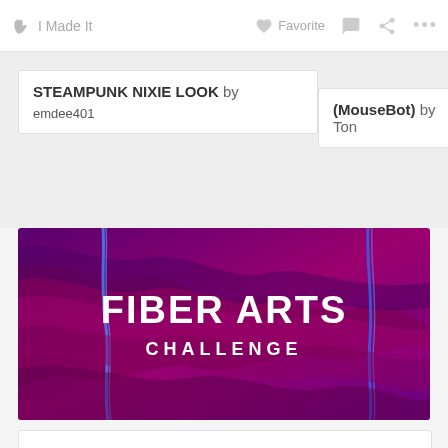I Made It   Favorite   …
STEAMPUNK NIXIE LOOK by emdee401
(MouseBot) by Ton
[Figure (photo): Fiber Arts Challenge banner image showing purple/magenta yarn or fiber with blue accent threads, with bold white text reading FIBER ARTS CHALLENGE centered on the image]
[Figure (other): Partially visible white card/content area at the bottom of the page]